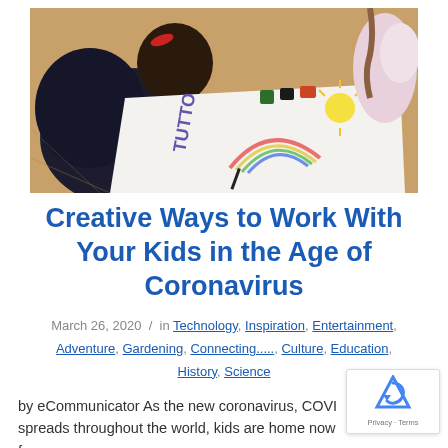[Figure (photo): A child drawing or writing on a large sheet of paper on a wooden floor, with crayons and colored blocks scattered around. The paper shows the word 'TUTTO' written on it with colorful crayon drawings including a rainbow and sun.]
Creative Ways to Work With Your Kids in the Age of Coronavirus
March 26, 2020  /  in Technology, Inspiration, Entertainment, Adventure, Gardening, Connecting....., Culture, Education, History, Science
by eCommunicator As the new coronavirus, COVI spreads throughout the world, kids are home now for a